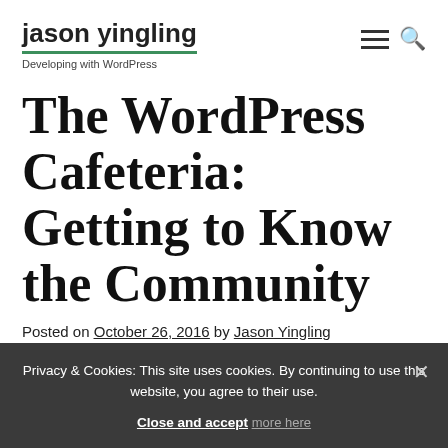jason yingling
Developing with WordPress
The WordPress Cafeteria: Getting to Know the Community
Posted on October 26, 2016 by Jason Yingling
Privacy & Cookies: This site uses cookies. By continuing to use this website, you agree to their use.
Close and accept